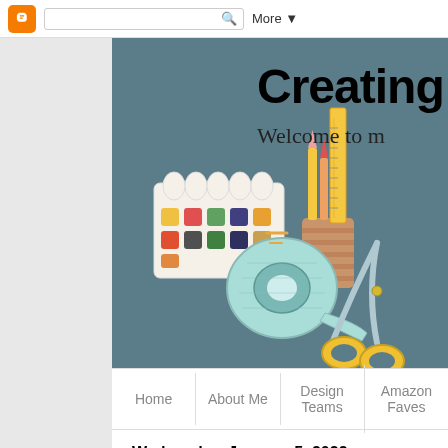Blogger navigation bar with search and More button
[Figure (illustration): Blog banner with teal/slate background showing craft supplies: watercolor paint palette, pencil holder with ruler and pencils, tape roll, and scissors. Title text 'Creating w' and subtitle 'Welcome to m' partially visible.]
Home | About Me | Design Teams | Amazon Faves
Wednesday, January 5, 2022